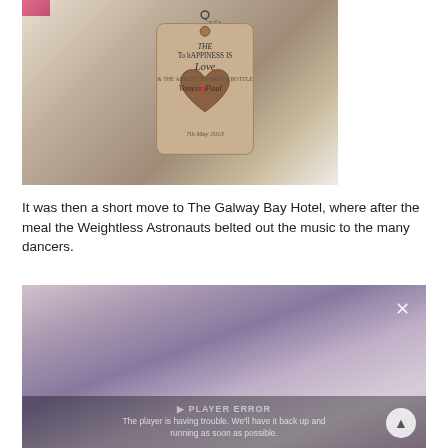[Figure (photo): A wooden gift tag with a heart cut-out attached to a ball chain. The tag reads: THE KEY TO HAPPINESS IS Love & THE ABILITY TO OPEN A BOTTLE Vanessa • Paul 7th May 2013. The tag is resting on a white fabric background with a pink ribbon visible in the top left corner.]
It was then a short move to The Galway Bay Hotel, where after the meal the Weightless Astronauts belted out the music to the many dancers.
[Figure (screenshot): A blurred/out-of-focus photo showing soft pink and purple tones. A video player overlay is visible with a close (×) button in the top right, a player error message reading 'The player is having trouble. We'll have it back up and running as soon as possible.' in the center bottom area, and a scroll-up arrow button in the bottom right.]